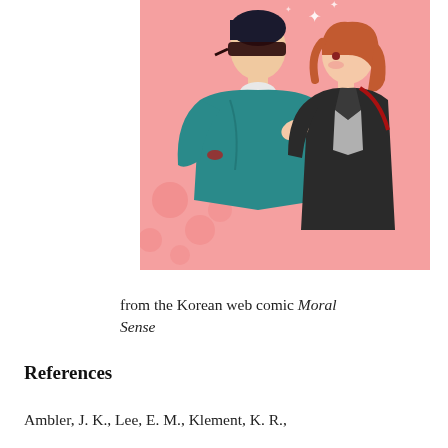[Figure (illustration): Illustration from the Korean web comic Moral Sense, showing two anime-style characters back to back: a tall male figure in a teal/green sweater wearing a blindfold, and a female figure with reddish-brown hair in a dark outfit, against a pink background with sparkles.]
from the Korean web comic Moral Sense
References
Ambler, J. K., Lee, E. M., Klement, K. R.,